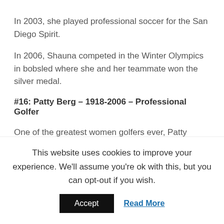In 2003, she played professional soccer for the San Diego Spirit.
In 2006, Shauna competed in the Winter Olympics in bobsled where she and her teammate won the silver medal.
#16: Patty Berg – 1918-2006 – Professional Golfer
One of the greatest women golfers ever, Patty turned pro in 1940.
When the U.S. entered World War II, Patty was commissioned a Lieutenant in the Marines and served from 1942 to 1945.
Patty returned to golf to break and hold many records that still
This website uses cookies to improve your experience. We'll assume you're ok with this, but you can opt-out if you wish.
Accept
Read More